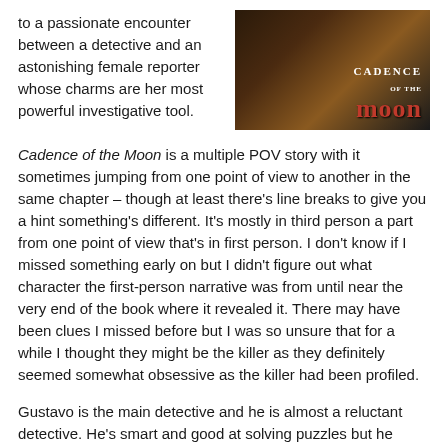to a passionate encounter between a detective and an astonishing female reporter whose charms are her most powerful investigative tool.
[Figure (photo): Book cover image for 'Cadence of the Moon' with dark background and stylized title text in white and red]
Cadence of the Moon is a multiple POV story with it sometimes jumping from one point of view to another in the same chapter – though at least there's line breaks to give you a hint something's different. It's mostly in third person a part from one point of view that's in first person. I don't know if I missed something early on but I didn't figure out what character the first-person narrative was from until near the very end of the book where it revealed it. There may have been clues I missed before but I was so unsure that for a while I thought they might be the killer as they definitely seemed somewhat obsessive as the killer had been profiled.
Gustavo is the main detective and he is almost a reluctant detective. He's smart and good at solving puzzles but he didn't join the police